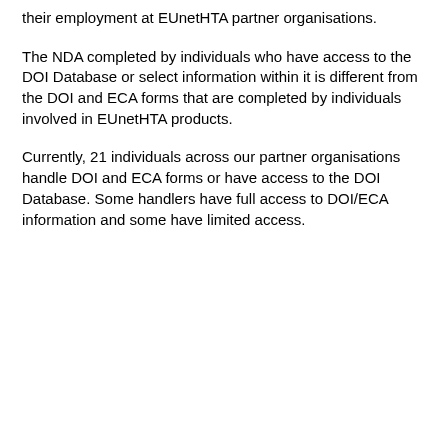their employment at EUnetHTA partner organisations.
The NDA completed by individuals who have access to the DOI Database or select information within it is different from the DOI and ECA forms that are completed by individuals involved in EUnetHTA products.
Currently, 21 individuals across our partner organisations handle DOI and ECA forms or have access to the DOI Database. Some handlers have full access to DOI/ECA information and some have limited access.